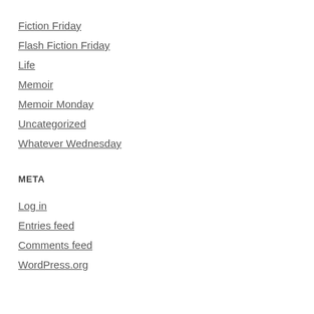Fiction Friday
Flash Fiction Friday
Life
Memoir
Memoir Monday
Uncategorized
Whatever Wednesday
META
Log in
Entries feed
Comments feed
WordPress.org